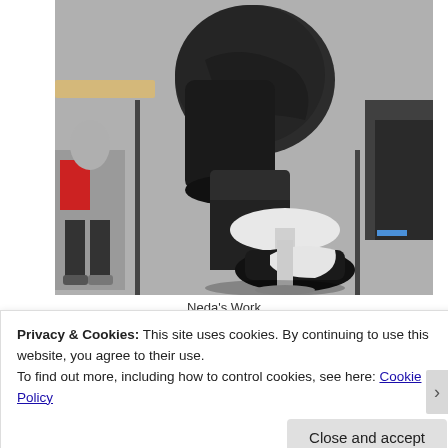[Figure (photo): Close-up photo of a person bending over, wearing a dark jacket and dark pants, in what appears to be a classroom or cafe setting with chairs and tables visible in the background. The image is taken from above.]
Neda's Work
Privacy & Cookies: This site uses cookies. By continuing to use this website, you agree to their use.
To find out more, including how to control cookies, see here: Cookie Policy
Close and accept